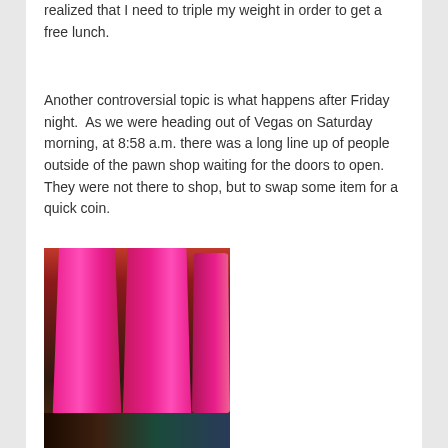realized that I need to triple my weight in order to get a free lunch.
Another controversial topic is what happens after Friday night.  As we were heading out of Vegas on Saturday morning, at 8:58 a.m. there was a long line up of people outside of the pawn shop waiting for the doors to open.  They were not there to shop, but to swap some item for a quick coin.
[Figure (photo): Photo of performers wearing large hot pink feather costumes/headdresses, viewed from behind, in what appears to be a Las Vegas casino or show venue with a crowd visible in the background.]